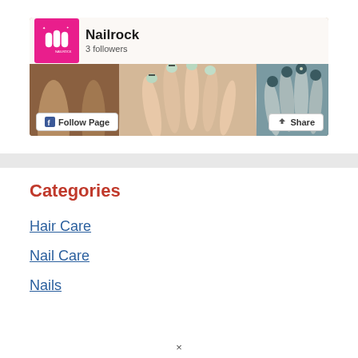[Figure (screenshot): Facebook page banner for Nailrock showing logo, '3 followers', nail photos, Follow Page button, and Share button]
Categories
Hair Care
Nail Care
Nails